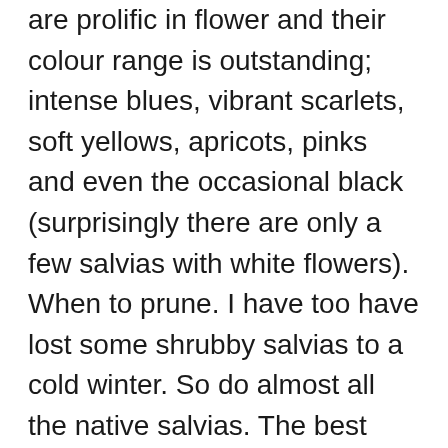are prolific in flower and their colour range is outstanding; intense blues, vibrant scarlets, soft yellows, apricots, pinks and even the occasional black (surprisingly there are only a few salvias with white flowers). When to prune. I have too have lost some shrubby salvias to a cold winter. So do almost all the native salvias. The best time to do this is in Spring, April is normally about right. Here's our step by step guide to propagating your Salvias in water or soil. It wasn't just me. Looking after salvias Half-hardy herbaceous types can be cut back in autumn but must then spend winter in a frost-free place. Credit: RHS/Tim Sandall. In areas with cold winters, most salvias are herbaceous perennials. Before dividing it, make sure the plant is well watered the day before. Saved by Gardening Know How. Most Salvias are a little temperamental when it comes to overwintering especially when grown permanently outdoors. People also love these ideas. There is a Salvia to suit any climate so you need to look closely at Planting